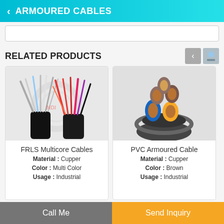ARMOURED CABLES
RELATED PRODUCTS
[Figure (photo): FRLS Multicore Cables: bundled multicore cable showing multiple colored wire strands fanned out from black outer jacket]
FRLS Multicore Cables
Material : Cupper
Color : Multi Color
Usage : Industrial
[Figure (photo): PVC Armoured Cable: cross-section showing copper conductors with colored insulation (blue, yellow, brown) and armoured outer sheath]
PVC Armoured Cable
Material : Cupper
Color : Brown
Usage : Industrial
Call Me
Send Inquiry